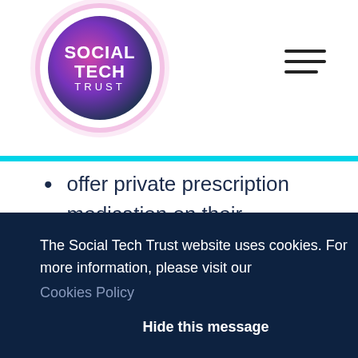[Figure (logo): Social Tech Trust circular logo with pink/purple gradient and white text]
offer private prescription medication on their website
FollowApp Care – bringing dentists and patients together through personalised digital care journeys
The Social Tech Trust website uses cookies. For more information, please visit our Cookies Policy
Hide this message